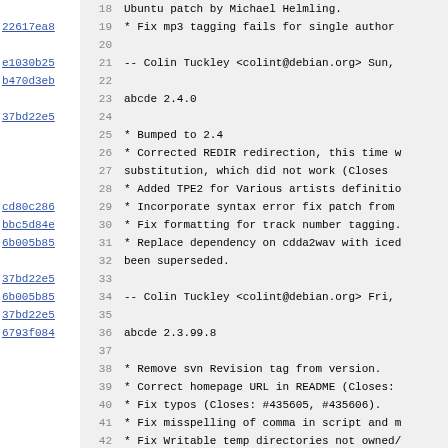Source code diff/blame view showing changelog entries for abcde package. Lines 18-50 showing git hashes and changelog content.